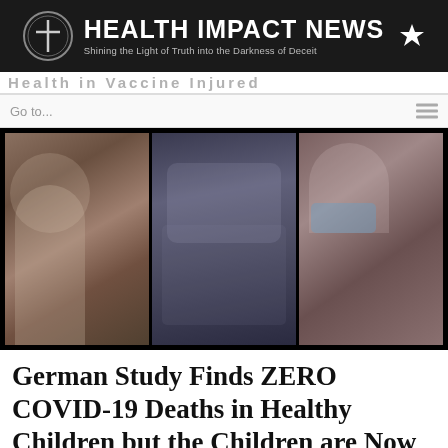HEALTH IMPACT NEWS — Shining the Light of Truth into the Darkness of Deceit
Go to...
[Figure (photo): Three-panel photo strip showing young women appearing ill or incapacitated — left panel shows a woman slouched on a couch, center panel shows a woman lying on the floor, right panel shows a woman wearing a blue medical mask looking downward.]
German Study Finds ZERO COVID-19 Deaths in Healthy Children but the Children are Now Dying from the